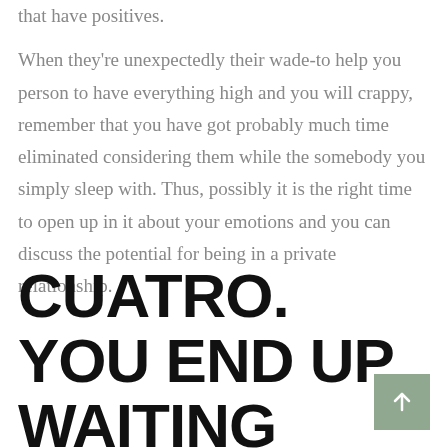that have positives.
When they're unexpectedly their wade-to help you person to have everything high and you will crappy, remember that you have got probably much time eliminated considering them while the somebody you simply sleep with. Thus, possibly it is the right time to open up in it about your emotions and you can discuss the potential for being in a private relationship.
CUATRO. YOU END UP WAITING AROUND FOR ENOUGH HER OR